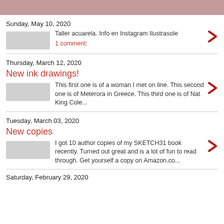Sunday, May 10, 2020
Taller acuarela. Info en Instagram Ilustrasole
1 comment:
Thursday, March 12, 2020
New ink drawings!
This first one is of a woman I met on line. This second one is of Meterora in Greece. This third one is of Nat King Cole...
Tuesday, March 03, 2020
New copies
I got 10 author copies of my SKETCH31 book recently. Turned out great and is a lot of fun to read through. Get yourself a copy on Amazon.co...
Saturday, February 29, 2020